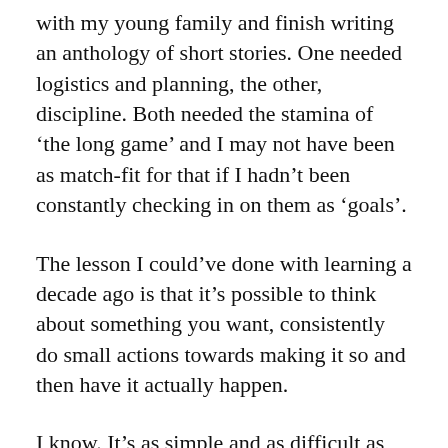with my young family and finish writing an anthology of short stories. One needed logistics and planning, the other, discipline. Both needed the stamina of ‘the long game’ and I may not have been as match-fit for that if I hadn’t been constantly checking in on them as ‘goals’.
The lesson I could’ve done with learning a decade ago is that it’s possible to think about something you want, consistently do small actions towards making it so and then have it actually happen.
I know. It’s as simple and as difficult as that.
[partial text continues below visible area]